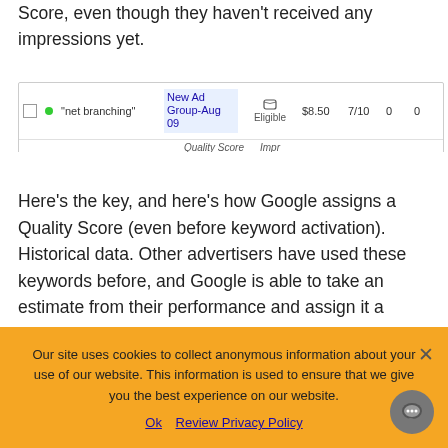Score, even though they haven't received any impressions yet.
[Figure (screenshot): Google Ads interface screenshot showing keyword 'net branching' in New Ad Group-Aug 09, status Eligible, bid $8.50, Quality Score 7/10, 0 impressions]
Here's the key, and here's how Google assigns a Quality Score (even before keyword activation). Historical data. Other advertisers have used these keywords before, and Google is able to take an estimate from their performance and assign it a 'starting score'. Being that each account
Our site uses cookies to collect anonymous information about your use of our website. This information is used to ensure that we give you the best experience on our website.
Ok   Review Privacy Policy